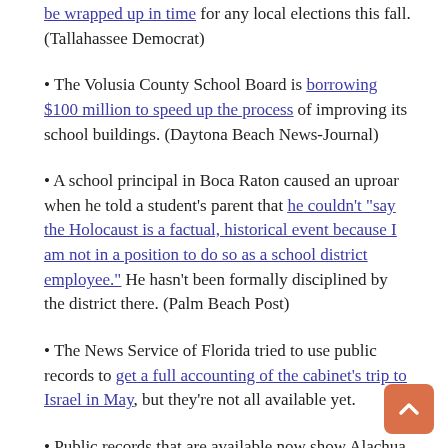be wrapped up in time for any local elections this fall. (Tallahassee Democrat)
The Volusia County School Board is borrowing $100 million to speed up the process of improving its school buildings. (Daytona Beach News-Journal)
A school principal in Boca Raton caused an uproar when he told a student’s parent that he couldn’t “say the Holocaust is a factual, historical event because I am not in a position to do so as a school district employee.” He hasn’t been formally disciplined by the district there. (Palm Beach Post)
The News Service of Florida tried to use public records to get a full accounting of the cabinet’s trip to Israel in May, but they’re not all available yet.
Public records that are available now show Alachua and Marion county commissioners’ most recent reported net worths. (Gainesville Sun)